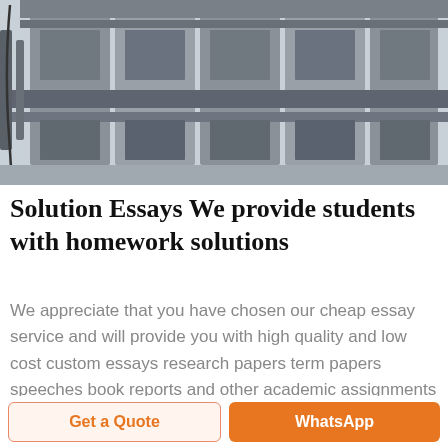[Figure (photo): Industrial machinery photo showing metal processing equipment with pipes, frames, and mechanical components in a factory setting]
Solution Essays We provide students with homework solutions
We appreciate that you have chosen our cheap essay service and will provide you with high quality and low cost custom essays research papers term papers speeches book reports and other academic assignments for sale 24 7 support We provide affordable writing services for students around the world That s why we work without a break to
Get a Quote
WhatsApp